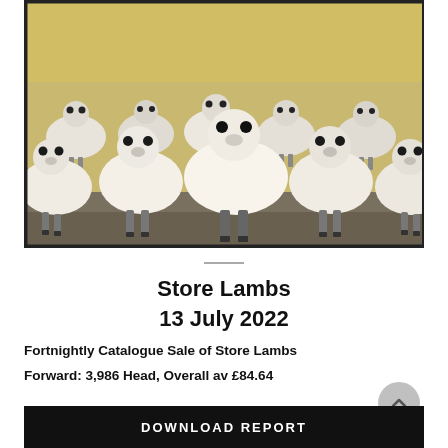[Figure (photo): A herd of white store lambs facing the camera, crowded together, with a yellow/straw coloured background field. Black and white photo with warm tones.]
Store Lambs
13 July 2022
Fortnightly Catalogue Sale of Store Lambs
Forward: 3,986 Head, Overall av £84.64
DOWNLOAD REPORT